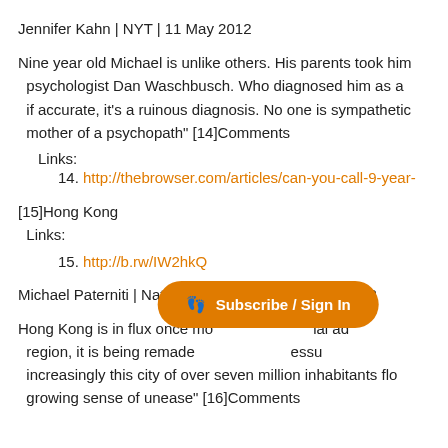Jennifer Kahn | NYT | 11 May 2012
Nine year old Michael is unlike others. His parents took him to psychologist Dan Waschbusch. Who diagnosed him as a if accurate, it's a ruinous diagnosis. No one is sympathetic mother of a psychopath" [14]Comments
Links:
14. http://thebrowser.com/articles/can-you-call-9-year-
[15]Hong Kong
Links:
15. http://b.rw/IW2hkQ
Michael Paterniti | National Geographic | 15 May 2012
Hong Kong is in flux once mo ial ad region, it is being remade essu increasingly this city of over seven million inhabitants flo growing sense of unease" [16]Comments